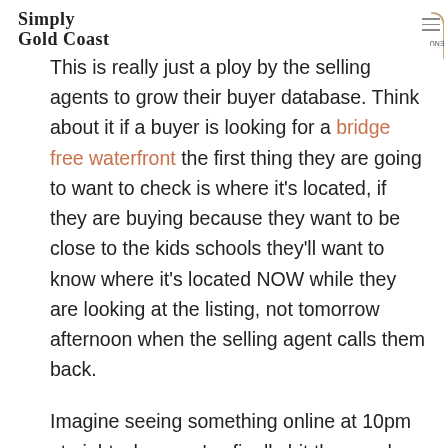Simply Gold Coast
This is really just a ploy by the selling agents to grow their buyer database. Think about it if a buyer is looking for a bridge free waterfront the first thing they are going to want to check is where it's located, if they are buying because they want to be close to the kids schools they'll want to know where it's located NOW while they are looking at the listing, not tomorrow afternoon when the selling agent calls them back.
Imagine seeing something online at 10pm at night when you've finally hit the couch after a big day at work, you're in the area the next